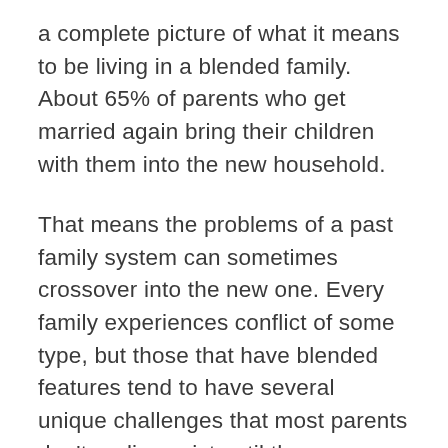a complete picture of what it means to be living in a blended family. About 65% of parents who get married again bring their children with them into the new household.
That means the problems of a past family system can sometimes crossover into the new one. Every family experiences conflict of some type, but those that have blended features tend to have several unique challenges that most parents don't realize exist until they encounter them for the first time.